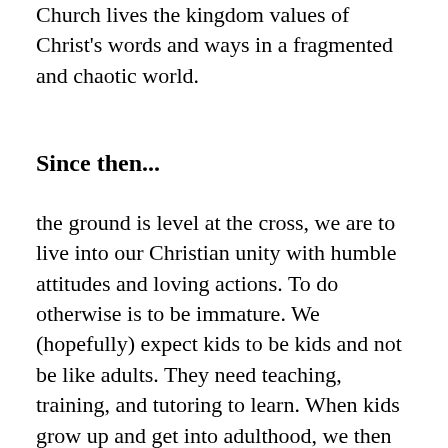Church lives the kingdom values of Christ's words and ways in a fragmented and chaotic world.
Since then...
the ground is level at the cross, we are to live into our Christian unity with humble attitudes and loving actions. To do otherwise is to be immature. We (hopefully) expect kids to be kids and not be like adults. They need teaching, training, and tutoring to learn. When kids grow up and get into adulthood, we then expect them act like an adult. If they continue in childish behavior, they are immature.